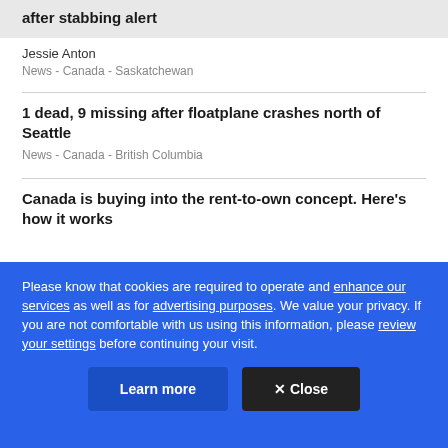after stabbing alert
Jessie Anton
News  -  Canada  -  Saskatchewan
1 dead, 9 missing after floatplane crashes north of Seattle
News  -  Canada  -  British Columbia
Canada is buying into the rent-to-own concept. Here's how it works
Please know that cookies are required to operate and enhance our services as well as for advertising purposes. We value your privacy. If you are not comfortable with us using this information, please review your settings before continuing your visit.